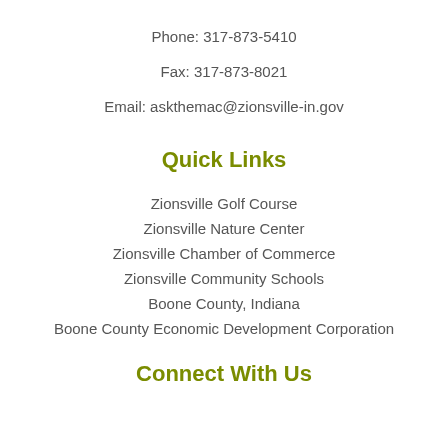Phone: 317-873-5410
Fax: 317-873-8021
Email: askthemac@zionsville-in.gov
Quick Links
Zionsville Golf Course
Zionsville Nature Center
Zionsville Chamber of Commerce
Zionsville Community Schools
Boone County, Indiana
Boone County Economic Development Corporation
Connect With Us